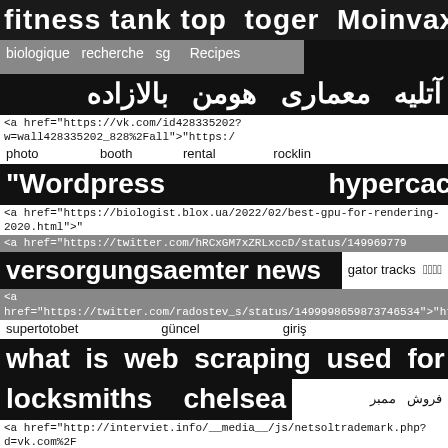fitness tank top toger Moinvaxer
biologique   recherche   sg   Recipes   ██████████
آتلیه   معماری   هومن   بالازاده
<a href="https://vk.com/id428335202?w=wall428335202_828%2Fall">"https:/
photo   booth   rental   rocklin
"Wordpress   hypercache"
<a href="https://biologist.blox.ua/2022/02/best-gpu-for-rendering-2020.html">>
<a href="https://twitter.com/hRCxGM7xZRLxccD/status/149969779
versorgungsaemter news   gator tracks   ᅟᅠ ᅟᅠ
<a href="https://twitter.com/radostev_s/status/1499998659873746534">"https
supertotobet   güncel   giriş
what is web scraping used for
locksmiths   chelsea   فروش ممبر
<a href="http://interviet.info/__media__/js/netsoltrademark.php?d=vk.com%2F
طريقة بان كيك سهل   homework in Spanish
x4rich   ██████████   voyeur   Tampografía
pressure   washing   lakewood   ranch
muros   de   contencion   de   mamposteria   pdf
<a href="http://reproductiverrightsnetwork.com/__media__/js/netsoltrademark.
coolsculpting   equipment
<a href="http://munditour.net/__media__/js/netsoltrademark.php?d=vk.com%2
<a href="https://twitter.com/Nerminmehdi01/status/150011026818
Olansi luftreiniger